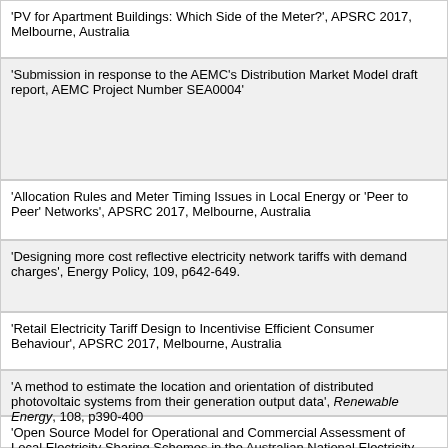'PV for Apartment Buildings: Which Side of the Meter?', APSRC 2017, Melbourne, Australia
'Submission in response to the AEMC's Distribution Market Model draft report, AEMC Project Number SEA0004'
'Allocation Rules and Meter Timing Issues in Local Energy or 'Peer to Peer' Networks', APSRC 2017, Melbourne, Australia
'Designing more cost reflective electricity network tariffs with demand charges', Energy Policy, 109, p642-649.
'Retail Electricity Tariff Design to Incentivise Efficient Consumer Behaviour', APSRC 2017, Melbourne, Australia
'A method to estimate the location and orientation of distributed photovoltaic systems from their generation output data', Renewable Energy, 108, p390-400
'Open Source Model for Operational and Commercial Assessment of Local Electricity Sharing Schemes in the Australian National Electricity Market', APSRC 2017, Melbourne, Australia